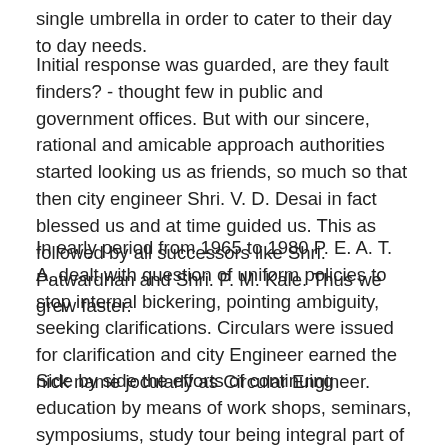single umbrella in order to cater to their day to day needs.
Initial response was guarded, are they fault finders? - thought few in public and government offices. But with our sincere, rational and amicable approach authorities started looking us as friends, so much so that then city engineer Shri. V. D. Desai in fact blessed us and at time guided us. This as followed by all successors like Shri. Patwardhan and Shri. P. M. Kale. Thus we grew faster.
In early period from 1965 to 1980 P. E. A. T. A. dealt with question of uniform policies to stop internal bickering, pointing ambiguity, seeking clarifications. Circulars were issued for clarification and city Engineer earned the nick name jocularly as Circular Engineer.
Side by side the efforts of continuing education by means of work shops, seminars, symposiums, study tour being integral part of activities of any professional body were